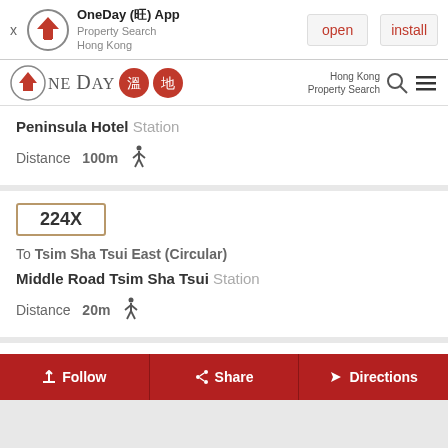OneDay (旺) App – Property Search Hong Kong – open / install
OneDay 溫地 – Hong Kong Property Search
Peninsula Hotel Station
Distance 100m
224X
To Tsim Sha Tsui East (Circular)
Middle Road Tsim Sha Tsui Station
Distance 20m
224X
Follow  Share  Directions